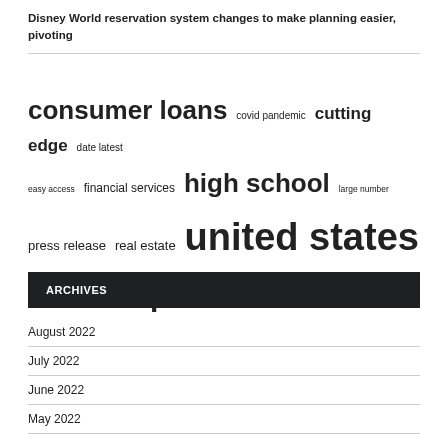Disney World reservation system changes to make planning easier, pivoting
[Figure (infographic): Tag cloud with terms of varying font sizes: consumer loans (large), covid pandemic (medium), cutting edge (large), date latest (medium), easy access (small), financial services (medium), high school (large), large number (small), press release (medium), real estate (medium), united states (very large), user friendly (small), vice president (very large), wall street (small), young people (small)]
ARCHIVES
August 2022
July 2022
June 2022
May 2022